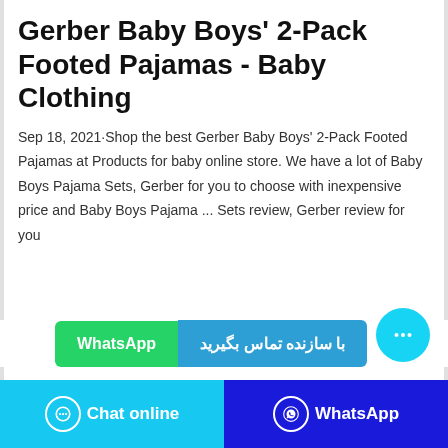Gerber Baby Boys' 2-Pack Footed Pajamas - Baby Clothing
Sep 18, 2021·Shop the best Gerber Baby Boys' 2-Pack Footed Pajamas at Products for baby online store. We have a lot of Baby Boys Pajama Sets, Gerber for you to choose with inexpensive price and Baby Boys Pajama ... Sets review, Gerber review for you
[Figure (screenshot): WhatsApp contact button (green) and blue contact button with Persian text 'با سازنده تماس بگیرید', plus a cyan chat bubble floating button]
[Figure (screenshot): Bottom navigation bar with 'Chat online' button (cyan) and 'WhatsApp' button (dark blue)]